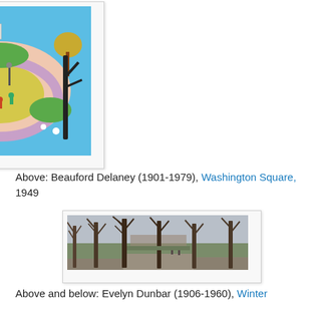[Figure (illustration): Colorful painting by Beauford Delaney showing Washington Square park scene with figures, birds, trees, and a central yellow area, rendered in a naive/folk art style with bright blues, greens, pinks, and yellows. Framed with white border.]
Above: Beauford Delaney (1901-1979), Washington Square, 1949
[Figure (illustration): Panoramic painting by Evelyn Dunbar showing a wintry park or garden scene with bare trees along a path, muted grey-green tones, figures visible in the distance.]
Above and below: Evelyn Dunbar (1906-1960), Winter